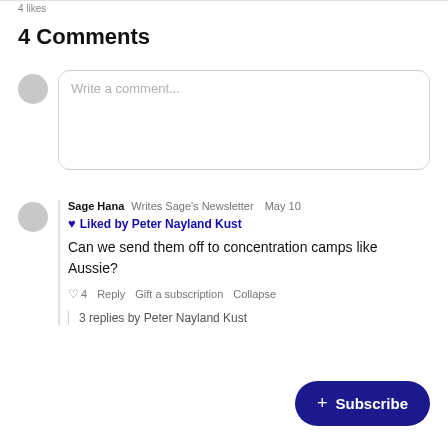4 likes
4 Comments
Write a comment...
Sage Hana  Writes Sage's Newsletter  May 10
♥ Liked by Peter Nayland Kust
Can we send them off to concentration camps like Aussie?
♡ 4  Reply  Gift a subscription  Collapse
3 replies by Peter Nayland Kust